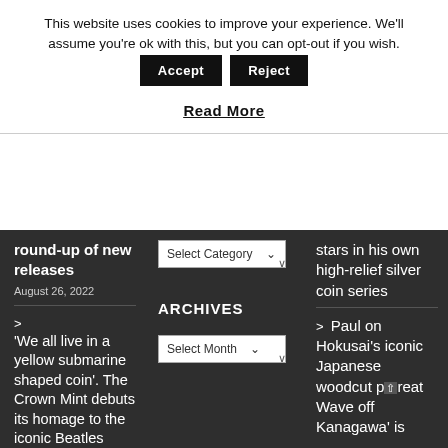This website uses cookies to improve your experience. We'll assume you're ok with this, but you can opt-out if you wish.
Accept | Reject
Read More
round-up of new releases
August 26, 2022
> 'We all live in a yellow submarine shaped coin'. The Crown Mint debuts its homage to the iconic Beatles song
ARCHIVES
Select Category
Select Month
stars in his own high-relief silver coin series
> Paul on Hokusai's iconic Japanese woodcut print 'Great Wave off Kanagawa' is